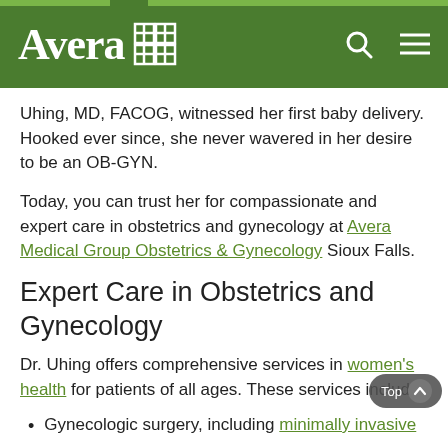Avera [logo]
Uhing, MD, FACOG, witnessed her first baby delivery. Hooked ever since, she never wavered in her desire to be an OB-GYN.
Today, you can trust her for compassionate and expert care in obstetrics and gynecology at Avera Medical Group Obstetrics & Gynecology Sioux Falls.
Expert Care in Obstetrics and Gynecology
Dr. Uhing offers comprehensive services in women's health for patients of all ages. These services include:
Gynecologic surgery, including minimally invasive